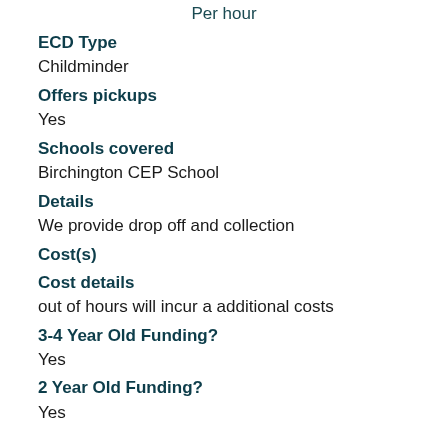Per hour
ECD Type
Childminder
Offers pickups
Yes
Schools covered
Birchington CEP School
Details
We provide drop off and collection
Cost(s)
Cost details
out of hours will incur a additional costs
3-4 Year Old Funding?
Yes
2 Year Old Funding?
Yes